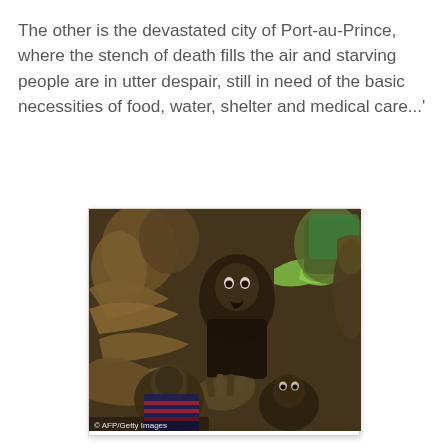The other is the devastated city of Port-au-Prince, where the stench of death fills the air and starving people are in utter despair, still in need of the basic necessities of food, water, shelter and medical care...'
[Figure (photo): A crowd of desperate people, including children, reaching out their hands toward the camera, appearing to be pleading for aid. The scene depicts the aftermath of the Haiti earthquake in Port-au-Prince. A watermark reads '© AFP/Getty Images' in the lower left corner.]